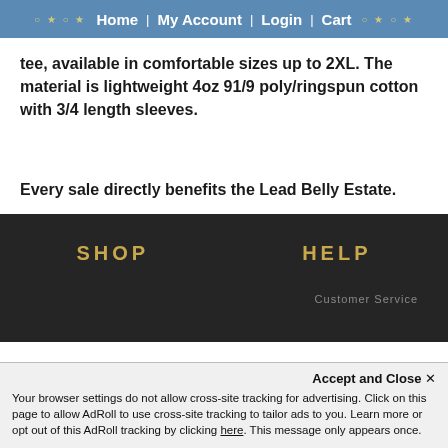○ ★ ○ ★   Home  |  My Account  |  Login  |  Cart  ○ ★ ○ ★
tee, available in comfortable sizes up to 2XL. The material is lightweight 4oz 91/9 poly/ringspun cotton with 3/4 length sleeves.
Every sale directly benefits the Lead Belly Estate.
This rustic portrayal of Lead Belly was created by celebrated Australian artist Pat Sofra, the text reads "Lead Belly Where Did You Sleep Last Night" and features a 12-string guitar.
SHOP    HELP    Customer Service
Accept and Close ✕
Your browser settings do not allow cross-site tracking for advertising. Click on this page to allow AdRoll to use cross-site tracking to tailor ads to you. Learn more or opt out of this AdRoll tracking by clicking here. This message only appears once.